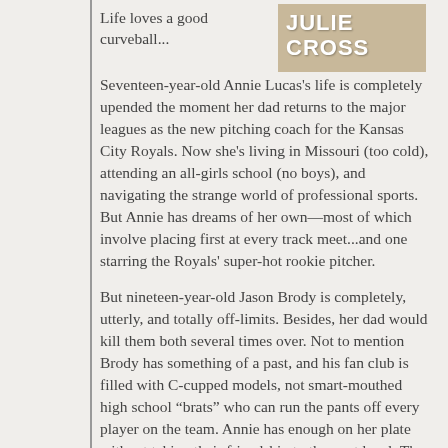[Figure (photo): Book cover showing author name JULIE CROSS, partially visible with light brown/tan background]
Life loves a good curveball...
Seventeen-year-old Annie Lucas's life is completely upended the moment her dad returns to the major leagues as the new pitching coach for the Kansas City Royals. Now she's living in Missouri (too cold), attending an all-girls school (no boys), and navigating the strange world of professional sports. But Annie has dreams of her own—most of which involve placing first at every track meet...and one starring the Royals' super-hot rookie pitcher.
But nineteen-year-old Jason Brody is completely, utterly, and totally off-limits. Besides, her dad would kill them both several times over. Not to mention Brody has something of a past, and his fan club is filled with C-cupped models, not smart-mouthed high school “brats” who can run the pants off every player on the team. Annie has enough on her plate without taking their friendship to the next level. The last thing she should be doing is falling